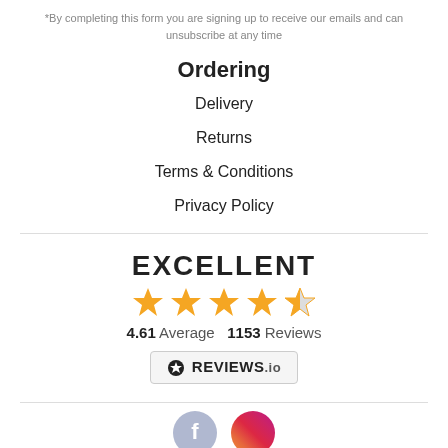*By completing this form you are signing up to receive our emails and can unsubscribe at any time
Ordering
Delivery
Returns
Terms & Conditions
Privacy Policy
EXCELLENT
[Figure (other): Star rating display: 4 full stars and 1 half star in orange]
4.61 Average  1153 Reviews
[Figure (logo): REVIEWS.io badge logo]
[Figure (other): Social media icons: Facebook and Instagram partially visible at bottom]